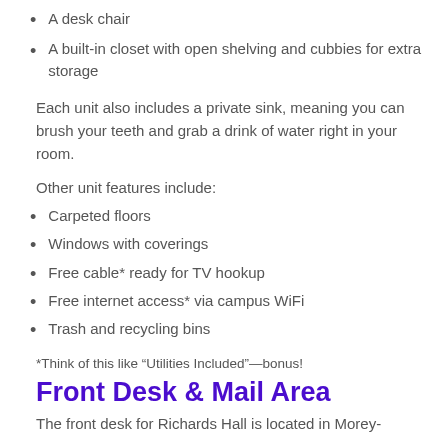A desk chair
A built-in closet with open shelving and cubbies for extra storage
Each unit also includes a private sink, meaning you can brush your teeth and grab a drink of water right in your room.
Other unit features include:
Carpeted floors
Windows with coverings
Free cable* ready for TV hookup
Free internet access* via campus WiFi
Trash and recycling bins
*Think of this like “Utilities Included”—bonus!
Front Desk & Mail Area
The front desk for Richards Hall is located in Morey-